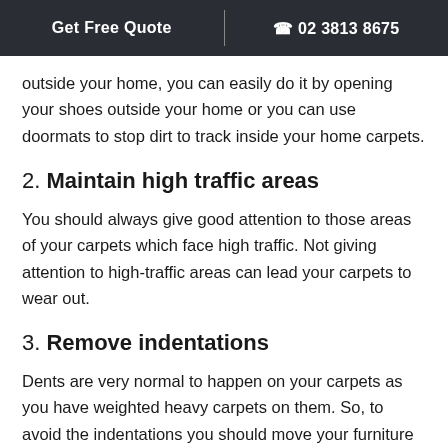Get Free Quote | 02 3813 8675
outside your home, you can easily do it by opening your shoes outside your home or you can use doormats to stop dirt to track inside your home carpets.
2. Maintain high traffic areas
You should always give good attention to those areas of your carpets which face high traffic. Not giving attention to high-traffic areas can lead your carpets to wear out.
3. Remove indentations
Dents are very normal to happen on your carpets as you have weighted heavy carpets on them. So, to avoid the indentations you should move your furniture often.
4. Protect carpet fibers